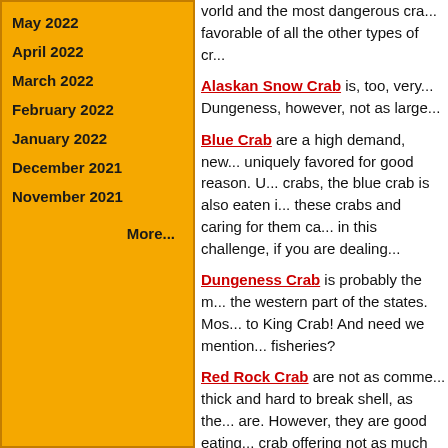May 2022
April 2022
March 2022
February 2022
January 2022
December 2021
November 2021
More...
world and the most dangerous cra... favorable of all the other types of cr...
Alaskan Snow Crab is, too, very... Dungeness, however, not as large...
Blue Crab are a high demand, new... uniquely favored for good reason. U... crabs, the blue crab is also eaten i... these crabs and caring for them ca... in this challenge, if you are dealing...
Dungeness Crab is probably the m... the western part of the states. Mos... to King Crab! And need we mention... fisheries?
Red Rock Crab are not as comme... thick and hard to break shell, as the... are. However, they are good eating... crab offering not as much meat.
Stone Crab are interesting creatu... happen to be our featured crab logo...
The Chinese Mitten Crab are inter... crab are known for their mitten-like...